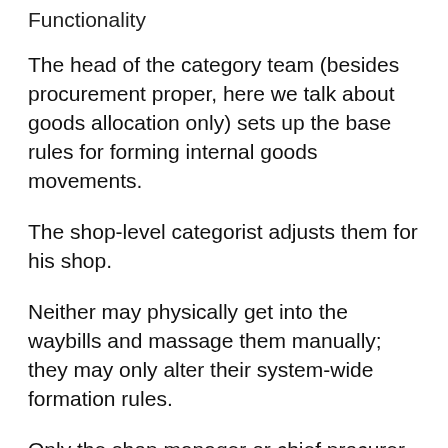Functionality
The head of the category team (besides procurement proper, here we talk about goods allocation only) sets up the base rules for forming internal goods movements.
The shop-level categorist adjusts them for his shop.
Neither may physically get into the waybills and massage them manually; they may only alter their system-wide formation rules.
Only the shop manager or chief procurer may get into the waybills on force majeure occasions.